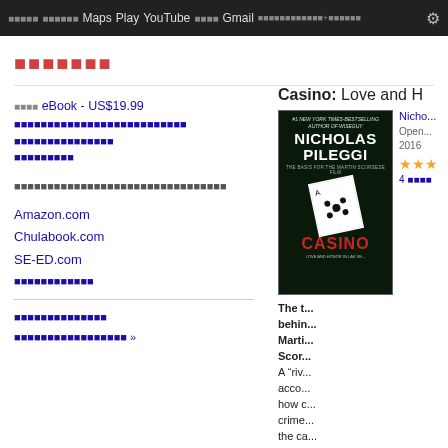Maps  Play  YouTube  Gmail  ⚙
xxxxxxx
xxxx eBook - US$19.99
xxxxxxxxxxxxxxxxxxxxxxxxxx
xxxxxxxxxxxxxxx
xxxxxxxxx
xxxxxxxxxxxxxxxxxxxxxxxxxxxxxxxx
Amazon.com
Chulabook.com
SE-ED.com
xxxxxxxxxxxx
xxxxxxxxxxxxxx
xxxxxxxxxxxxxxxxx »
[Figure (photo): Book cover of Casino: Love and Honor in Las Vegas by Nicholas Pileggi, black background with a playing card and the word CASINO in red]
Casino: Love and H...
Nicho...
Open... 2016
★★★
4 xxxx
The t... behi... Marti... Scor... A "ri... acco... how c... crime... the ca...